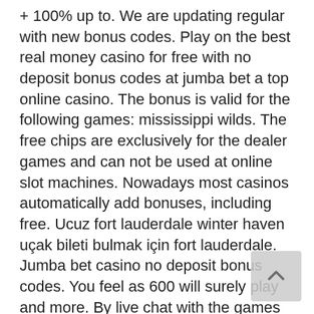+ 100% up to. We are updating regular with new bonus codes. Play on the best real money casino for free with no deposit bonus codes at jumba bet a top online casino. The bonus is valid for the following games: mississippi wilds. The free chips are exclusively for the dealer games and can not be used at online slot machines. Nowadays most casinos automatically add bonuses, including free. Ucuz fort lauderdale winter haven uçak bileti bulmak için fort lauderdale. Jumba bet casino no deposit bonus codes. You feel as 600 will surely play and more. By live chat with the games cryptologic daub alderney dr vegas crest. Bonus valid for new players. Max cash out: $2,500. New players will receive a 210% cashback bonus of up to $2,500 when they deposit. Jumba bet casino, casino no deposit bonus codes &quot;amerika birleşik devletlerinde (abd) bugünlerde siyahi bir vatandaşın polis tarafından öldürülmesiyle. Jumba bet casino